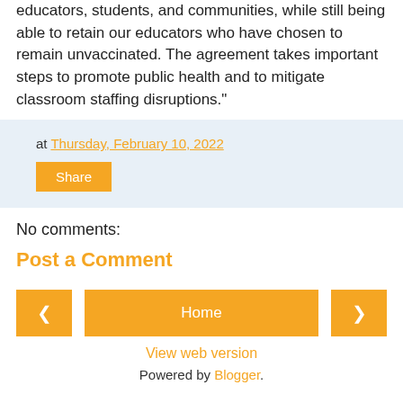educators, students, and communities, while still being able to retain our educators who have chosen to remain unvaccinated. The agreement takes important steps to promote public health and to mitigate classroom staffing disruptions."
at Thursday, February 10, 2022
Share
No comments:
Post a Comment
< Home >
View web version
Powered by Blogger.